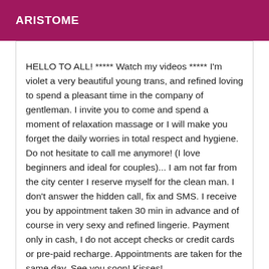ARISTOME
HELLO TO ALL! ***** Watch my videos ***** I'm violet a very beautiful young trans, and refined loving to spend a pleasant time in the company of gentleman. I invite you to come and spend a moment of relaxation massage or I will make you forget the daily worries in total respect and hygiene. Do not hesitate to call me anymore! (I love beginners and ideal for couples)... I am not far from the city center I reserve myself for the clean man. I don't answer the hidden call, fix and SMS. I receive you by appointment taken 30 min in advance and of course in very sexy and refined lingerie. Payment only in cash, I do not accept checks or credit cards or pre-paid recharge. Appointments are taken for the same day. See you soon! Kisses!
[Figure (photo): Photo of a person with a badge labeled Online in magenta at top left]